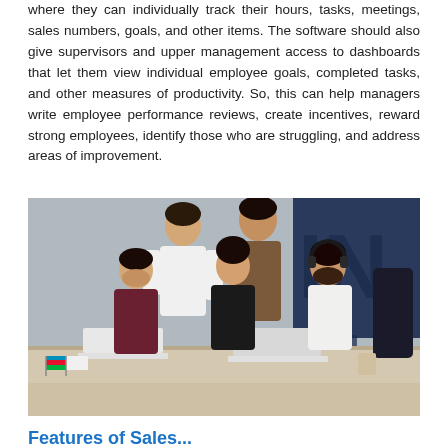where they can individually track their hours, tasks, meetings, sales numbers, goals, and other items. The software should also give supervisors and upper management access to dashboards that let them view individual employee goals, completed tasks, and other measures of productivity. So, this can help managers write employee performance reviews, create incentives, reward strong employees, identify those who are struggling, and address areas of improvement.
[Figure (photo): Group of five people (four seated, one standing) gathered around laptops at a conference table in an office environment with large letters on the wall in the background. Small flags are visible on the table on the left side.]
Features of Sales...